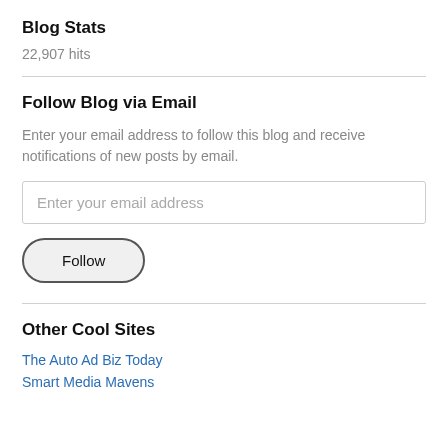Blog Stats
22,907 hits
Follow Blog via Email
Enter your email address to follow this blog and receive notifications of new posts by email.
Enter your email address
Follow
Other Cool Sites
The Auto Ad Biz Today
Smart Media Mavens